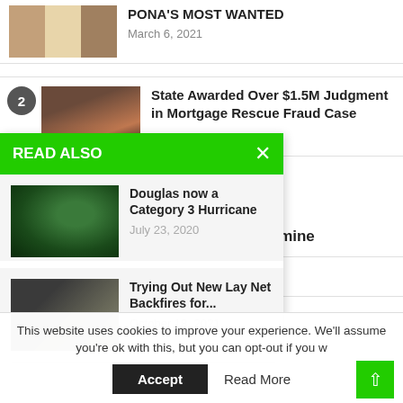[Figure (photo): Three mugshot-style faces (two lighter, one darker) beside article text]
PONA'S MOST WANTED
March 6, 2021
[Figure (photo): Woman with brown highlighted hair]
State Awarded Over $1.5M Judgment in Mortgage Rescue Fraud Case
READ ALSO
[Figure (photo): Satellite image of Hurricane Douglas]
Douglas now a Category 3 Hurricane
July 23, 2020
[Figure (photo): Dark image of lay net or trap]
Trying Out New Lay Net Backfires for...
October 18, 2021
Sentenced to 18 Years in ethamphetamine
iki Shield leads to Arrest
This website uses cookies to improve your experience. We'll assume you're ok with this, but you can opt-out if you w
Accept
Read More